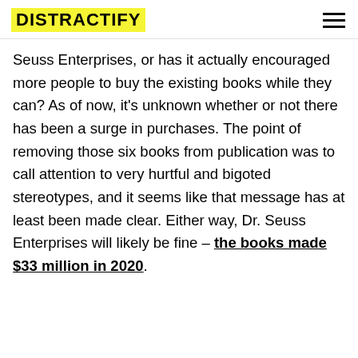DISTRACTIFY
Seuss Enterprises, or has it actually encouraged more people to buy the existing books while they can? As of now, it's unknown whether or not there has been a surge in purchases. The point of removing those six books from publication was to call attention to very hurtful and bigoted stereotypes, and it seems like that message has at least been made clear. Either way, Dr. Seuss Enterprises will likely be fine – the books made $33 million in 2020.